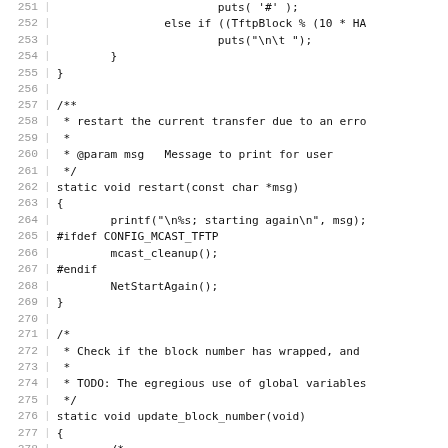[Figure (screenshot): Source code listing showing C code lines 251-281, including a progress display function and restart/update_block_number functions with comments about TFTP block handling.]